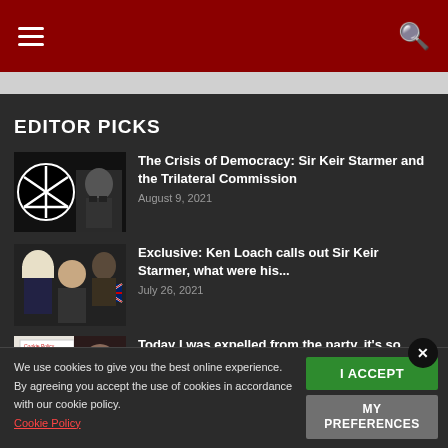Navigation header with hamburger menu and search icon
EDITOR PICKS
[Figure (photo): Thumbnail image of Trilateral Commission logo and Sir Keir Starmer]
The Crisis of Democracy: Sir Keir Starmer and the Trilateral Commission
August 9, 2021
[Figure (photo): Thumbnail image of judges/barristers and Julian Assange with UK flag]
Exclusive: Ken Loach calls out Sir Keir Starmer, what were his...
July 26, 2021
[Figure (photo): Thumbnail image of document/cookie policy paper and person]
Today I was expelled from the party, it's so liberating.
June 25, 2021
We use cookies to give you the best online experience. By agreeing you accept the use of cookies in accordance with our cookie policy.
Cookie Policy
I ACCEPT
MY PREFERENCES